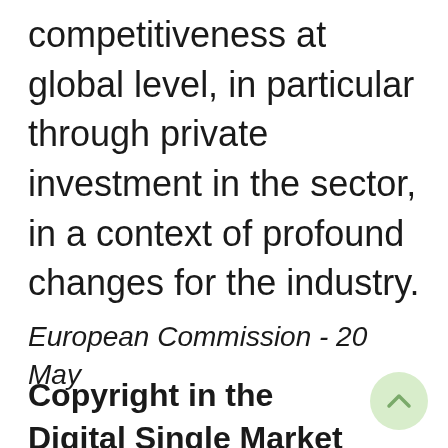competitiveness at global level, in particular through private investment in the sector, in a context of profound changes for the industry.
European Commission - 20 May
Copyright in the Digital Single Market Directive